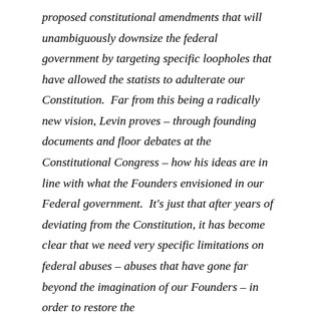proposed constitutional amendments that will unambiguously downsize the federal government by targeting specific loopholes that have allowed the statists to adulterate our Constitution.  Far from this being a radically new vision, Levin proves – through founding documents and floor debates at the Constitutional Congress – how his ideas are in line with what the Founders envisioned in our Federal government.  It's just that after years of deviating from the Constitution, it has become clear that we need very specific limitations on federal abuses – abuses that have gone far beyond the imagination of our Founders – in order to restore the